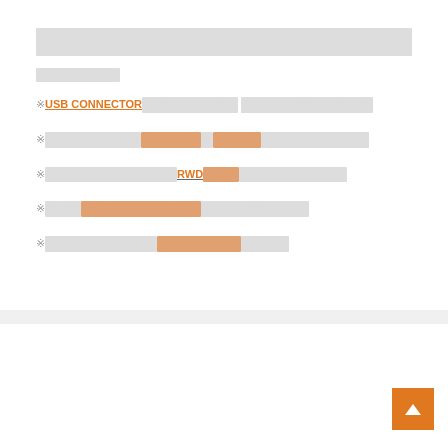関連記事：ノートパソコンの選び方,初心者向け,おすすめ,人気ランキング
関連キーワード
※ USB CONNECTORとはどんなもの？ ノートパソコンの選び方
※ ノートパソコンの初心者向けとおすすめランキングについて
※ ノートパソコンおすすめRWD選び方ランキングについて
※ 初心者ノートパソコン選び方ランキングについて
※ おすすめランキング,人気ランキングについて